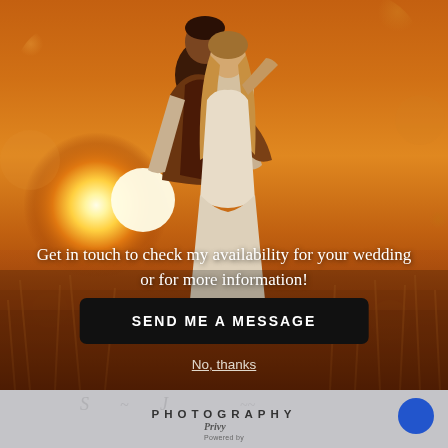[Figure (photo): Wedding couple kissing at golden sunset in a field of tall golden grass, man in dark vest and white shirt, woman in white strapless dress, warm orange bokeh background with bright sun]
Get in touch to check my availability for your wedding or for more information!
SEND ME A MESSAGE
No, thanks
PHOTOGRAPHY
Privy
Powered by